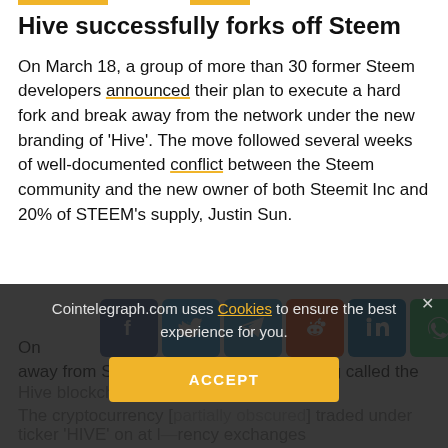Hive successfully forks off Steem
On March 18, a group of more than 30 former Steem developers announced their plan to execute a hard fork and break away from the network under the new branding of 'Hive'. The move followed several weeks of well-documented conflict between the Steem community and the new owner of both Steemit Inc and 20% of STEEM's supply, Justin Sun.
[Figure (infographic): Social share button bar with icons for Facebook, Twitter, Telegram, Reddit, LinkedIn, WhatsApp, Copy, and scroll-to-top]
On [partially obscured] away from Steem — creating what is being called the Hive blockchain.
The cryptocurrency [partially obscured] traded under the ticker 'HIVE' on at l[partially obscured] rency exchanges
Cointelegraph.com uses Cookies to ensure the best experience for you.
ACCEPT